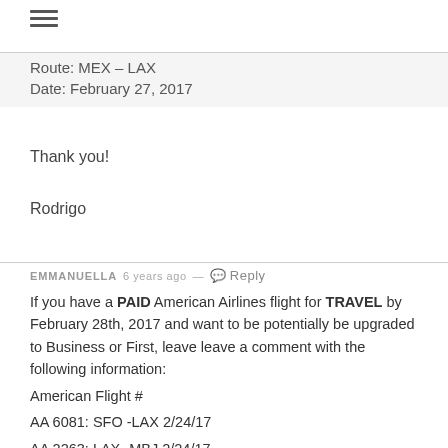[Figure (other): Hamburger menu icon with three horizontal lines]
Route: MEX – LAX
Date: February 27, 2017
Thank you!
Rodrigo
EMMANUELLA 6 years ago — Reply
If you have a PAID American Airlines flight for TRAVEL by February 28th, 2017 and want to be potentially be upgraded to Business or First, leave leave a comment with the following information:
American Flight #
AA 6081: SFO -LAX 2/24/17
AA 2263: LAX- MBJ 2/24/17